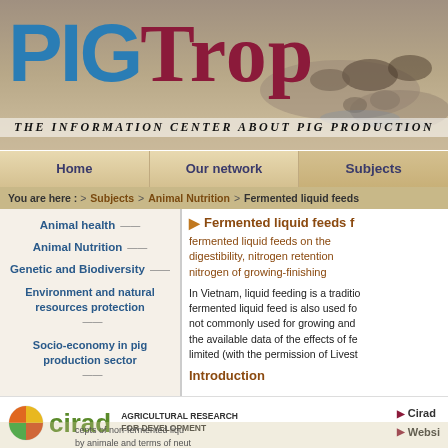[Figure (photo): Background photo of pigs/animals in water/mud, used as header background for PigTrop website]
PIGTrop — The information center about pig production
Home | Our network | Subjects
You are here : > Subjects > Animal Nutrition > Fermented liquid feeds
Animal health
Animal Nutrition
Genetic and Biodiversity
Environment and natural resources protection
Socio-economy in pig production sector
Fermented liquid feeds
fermented liquid feeds on the digestibility, nitrogen retention, nitrogen of growing-finishing
In Vietnam, liquid feeding is a traditio... fermented liquid feed is also used fo... not commonly used for growing an... the available data of the effects of fe... limited (with the permission of Livest...
Introduction
[Figure (logo): CIRAD logo — circular multicolored emblem with green cirad text and tagline AGRICULTURAL RESEARCH FOR DEVELOPMENT]
AGRICULTURAL RESEARCH FOR DEVELOPMENT
Cirad
Websit